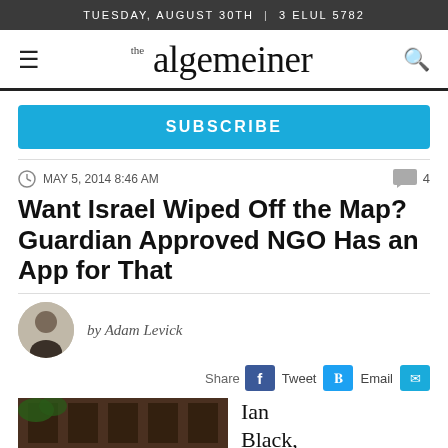TUESDAY, AUGUST 30TH  |  3 ELUL 5782
the algemeiner
SUBSCRIBE
MAY 5, 2014 8:46 AM
Want Israel Wiped Off the Map? Guardian Approved NGO Has an App for That
by Adam Levick
Share  Tweet  Email
Ian Black,